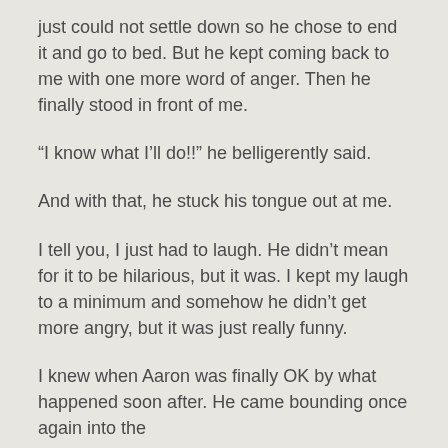just could not settle down so he chose to end it and go to bed.  But he kept coming back to me with one more word of anger.  Then he finally stood in front of me.
“I know what I’ll do!!” he belligerently said.
And with that, he stuck his tongue out at me.
I tell you, I just had to laugh.  He didn’t mean for it to be hilarious, but it was.  I kept my laugh to a minimum and somehow he didn’t get more angry, but it was just really funny.
I knew when Aaron was finally OK by what happened soon after.  He came bounding once again into the